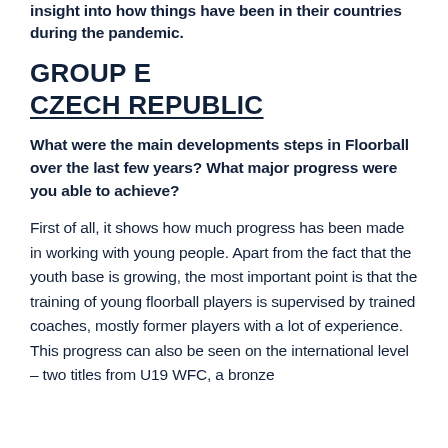insight into how things have been in their countries during the pandemic.
GROUP E
CZECH REPUBLIC
What were the main developments steps in Floorball over the last few years? What major progress were you able to achieve?
First of all, it shows how much progress has been made in working with young people. Apart from the fact that the youth base is growing, the most important point is that the training of young floorball players is supervised by trained coaches, mostly former players with a lot of experience. This progress can also be seen on the international level – two titles from U19 WFC, a bronze